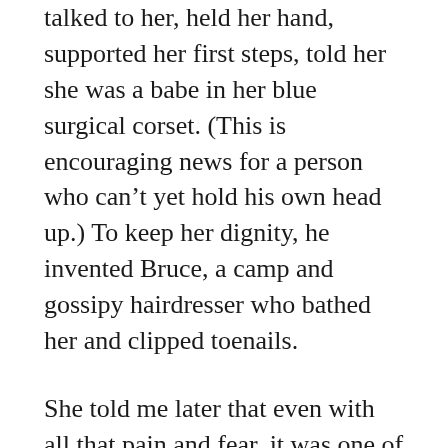talked to her, held her hand, supported her first steps, told her she was a babe in her blue surgical corset. (This is encouraging news for a person who can't yet hold his own head up.) To keep her dignity, he invented Bruce, a camp and gossipy hairdresser who bathed her and clipped toenails.
She told me later that even with all that pain and fear, it was one of the happiest times of their lives. What a love story you come from.
I wonder what will happen in the eighty or ninety years that stretch before you. You've already had an interesting life as a passenger: made in Tehran, gestated in Dublin, made your entrance in DC. By birth, you're Huguenot, Celt